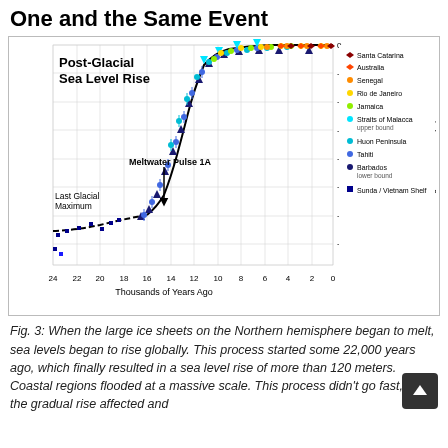One and the Same Event
[Figure (continuous-plot): Multi-series scatter plot with error bars showing post-glacial sea level rise from ~24,000 years ago to present. Y-axis ranges from approximately -140m to 0m. Data series include Santa Catarina, Australia, Senegal, Rio de Janeiro, Jamaica, Straits of Malacca (upper bound), Huon Peninsula, Tahiti, Barbados (lower bound), and Sunda/Vietnam Shelf. A black S-curve best-fit line is overlaid. Annotations mark 'Last Glacial Maximum' at ~21 kya and 'Meltwater Pulse 1A' at ~14 kya.]
Fig. 3: When the large ice sheets on the Northern hemisphere began to melt, sea levels began to rise globally. This process started some 22,000 years ago, which finally resulted in a sea level rise of more than 120 meters. Coastal regions flooded at a massive scale. This process didn't go fast, but the gradual rise affected and